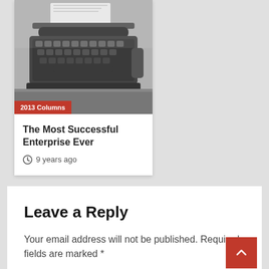[Figure (photo): Black and white photograph of a vintage typewriter, close-up view showing keys and carriage]
2013 Columns
The Most Successful Enterprise Ever
9 years ago
Leave a Reply
Your email address will not be published. Required fields are marked *